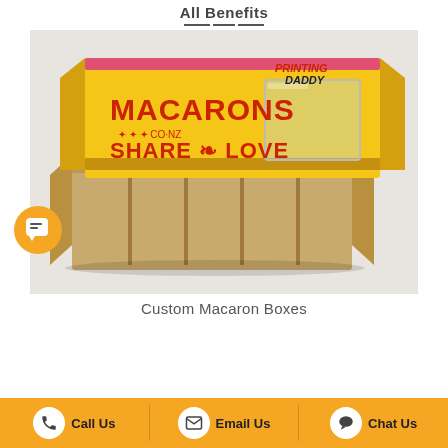All Benefits
[Figure (photo): Custom macaron box with yellow printed lid showing 'MACARONS CO.NZ SHARE LOVE' text and a clear window, with open kraft cardboard insert tray showing compartments, Printing Daddy logo in top right corner]
Custom Macaron Boxes
Call Us   Email Us   Chat Us